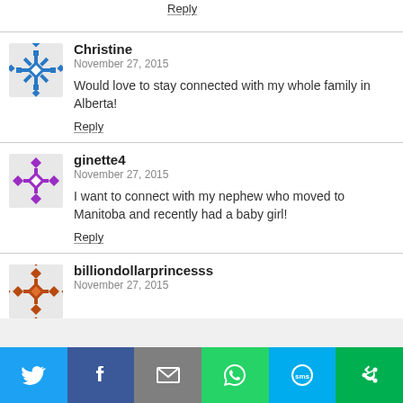Reply
[Figure (illustration): Blue geometric avatar for Christine]
Christine
November 27, 2015
Would love to stay connected with my whole family in Alberta!
Reply
[Figure (illustration): Purple geometric avatar for ginette4]
ginette4
November 27, 2015
I want to connect with my nephew who moved to Manitoba and recently had a baby girl!
Reply
[Figure (illustration): Brown/orange geometric avatar for billiondollarprincesss]
billiondollarprincesss
November 27, 2015
[Figure (infographic): Social share bar with Twitter, Facebook, Email, WhatsApp, SMS, and another share icon]